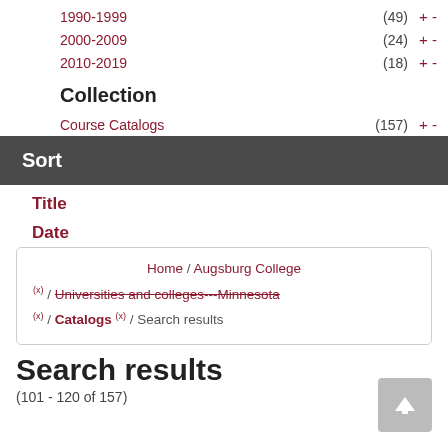1990-1999 (49) + -
2000-2009 (24) + -
2010-2019 (18) + -
Collection
Course Catalogs (157) + -
Sort
Title
Date
Home / Augsburg College / (x) / Universities and colleges---Minnesota / (x) / Catalogs (x) / Search results
Search results
(101 - 120 of 157)